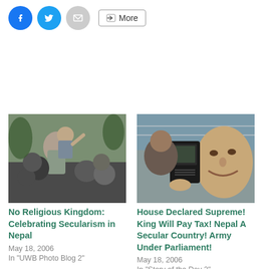[Figure (screenshot): Social share buttons: Facebook (blue circle), Twitter (light blue circle), Email (grey circle), More button with share icon]
[Figure (photo): Crowd of people celebrating, a person being lifted up in the air, outdoors with trees in background]
No Religious Kingdom: Celebrating Secularism in Nepal
May 18, 2006
In "UWB Photo Blog 2"
[Figure (photo): Group of people, man in foreground holding a radio/transistor device, smiling]
House Declared Supreme! King Will Pay Tax! Nepal A Secular Country! Army Under Parliament!
May 18, 2006
In "Story of the Day 2"
Victory Mass Meeting at kalanki